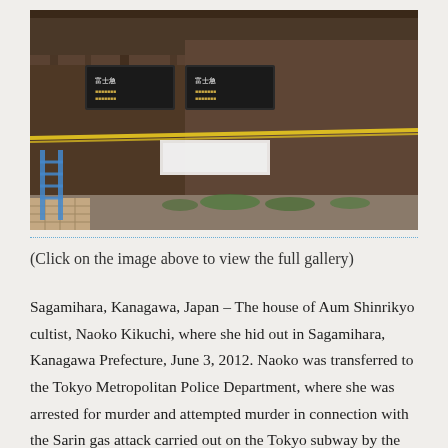[Figure (photo): A weathered, dilapidated wooden building with rust-stained corrugated metal siding, two signs with Japanese text on the front, yellow police tape strung across the entrance, and a blue ladder visible on the left side.]
(Click on the image above to view the full gallery)
Sagamihara, Kanagawa, Japan – The house of Aum Shinrikyo cultist, Naoko Kikuchi, where she hid out in Sagamihara, Kanagawa Prefecture, June 3, 2012. Naoko was transferred to the Tokyo Metropolitan Police Department, where she was arrested for murder and attempted murder in connection with the Sarin gas attack carried out on the Tokyo subway by the Aum Shinrikyo on March 20, 1995. (Photo by Masahiro Tanami/AFLO)